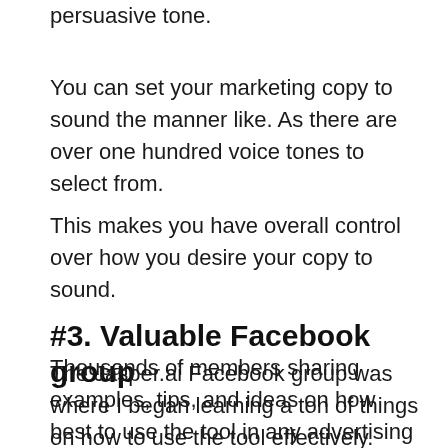persuasive tone.
You can set your marketing copy to sound the manner like. As there are over one hundred voice tones to select from.
This makes you have overall control over how you desire your copy to sound.
#3. Valuable Facebook group
The Jasper.ai Facebook group was where I began learning a ton of things on how to use the tool effectively.
Thousands of members sharing examples, tips, and ideas on how best to use the tool in any advertising